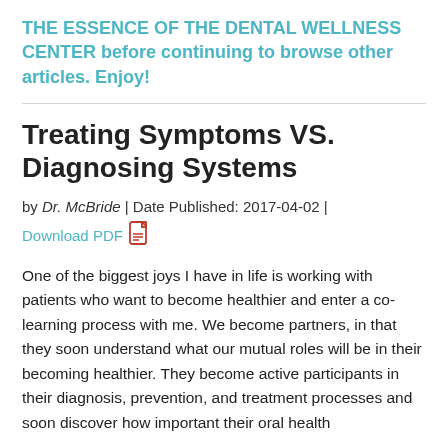THE ESSENCE OF THE DENTAL WELLNESS CENTER before continuing to browse other articles. Enjoy!
Treating Symptoms VS. Diagnosing Systems
by Dr. McBride | Date Published: 2017-04-02 | Download PDF
One of the biggest joys I have in life is working with patients who want to become healthier and enter a co-learning process with me. We become partners, in that they soon understand what our mutual roles will be in their becoming healthier. They become active participants in their diagnosis, prevention, and treatment processes and soon discover how important their oral health